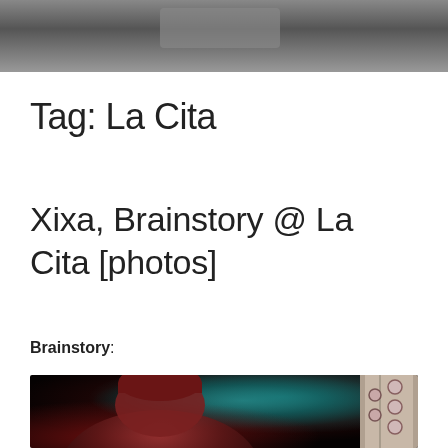[Figure (photo): Blurred dark photograph at the top of the page, appears to be an indoor venue scene with dark and grey tones]
Tag: La Cita
Xixa, Brainstory @ La Cita [photos]
Brainstory:
[Figure (photo): Concert photo showing a performer wearing a dark red/maroon beanie hat, with colorful stage lighting in reds and teals in the background, and a guitar headstock visible on the right side]